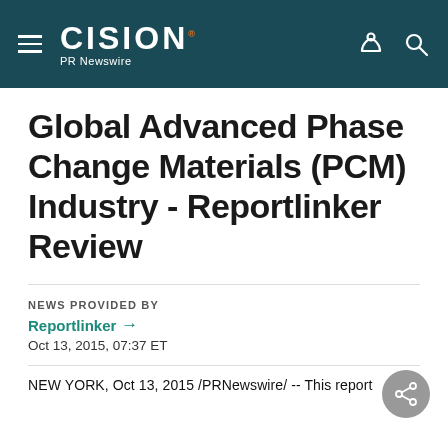CISION PR Newswire
Global Advanced Phase Change Materials (PCM) Industry - Reportlinker Review
NEWS PROVIDED BY
Reportlinker →
Oct 13, 2015, 07:37 ET
NEW YORK, Oct 13, 2015 /PRNewswire/ -- This report